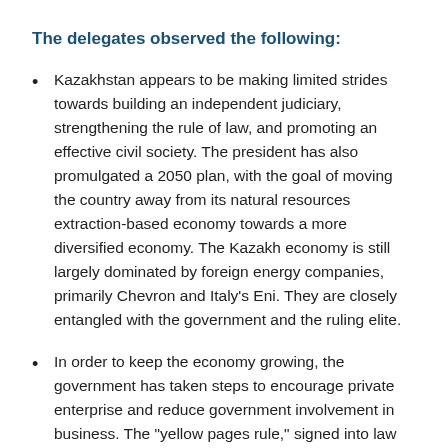The delegates observed the following:
Kazakhstan appears to be making limited strides towards building an independent judiciary, strengthening the rule of law, and promoting an effective civil society. The president has also promulgated a 2050 plan, with the goal of moving the country away from its natural resources extraction-based economy towards a more diversified economy. The Kazakh economy is still largely dominated by foreign energy companies, primarily Chevron and Italy's Eni. They are closely entangled with the government and the ruling elite.
In order to keep the economy growing, the government has taken steps to encourage private enterprise and reduce government involvement in business. The "yellow pages rule," signed into law earlier this year by the president, "restricts the creation of subsidiaries